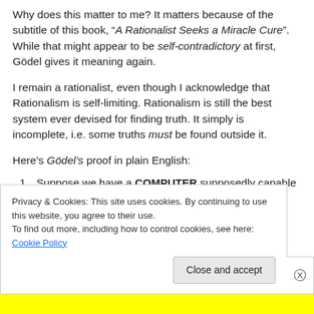Why does this matter to me? It matters because of the subtitle of this book, “A Rationalist Seeks a Miracle Cure”. While that might appear to be self-contradictory at first, Gödel gives it meaning again.
I remain a rationalist, even though I acknowledge that Rationalism is self-limiting. Rationalism is still the best system ever devised for finding truth. It simply is incomplete, i.e. some truths must be found outside it.
Here’s Gödel’s proof in plain English:
Suppose we have a COMPUTER supposedly capable of correctly answering any question.
Now consider the following proposition:
Privacy & Cookies: This site uses cookies. By continuing to use this website, you agree to their use.
To find out more, including how to control cookies, see here: Cookie Policy
Close and accept